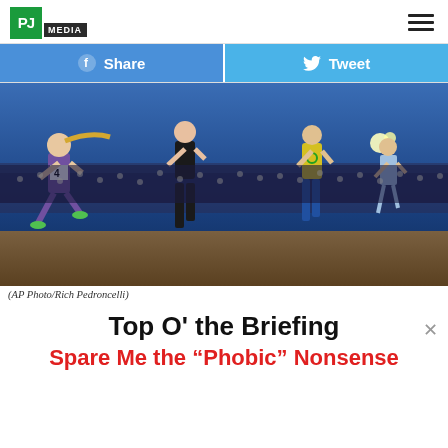PJ MEDIA
[Figure (other): Facebook Share button and Twitter Tweet button in blue social share bar]
[Figure (photo): Female track and field runners racing on a track at night in a stadium packed with spectators. Runner #4 in purple/white uniform is prominent on left. Other runners in black, yellow/green, and blue uniforms visible. Stadium lights illuminate the scene.]
(AP Photo/Rich Pedroncelli)
Top O' the Briefing
Spare Me the “Phobic” Nonsense